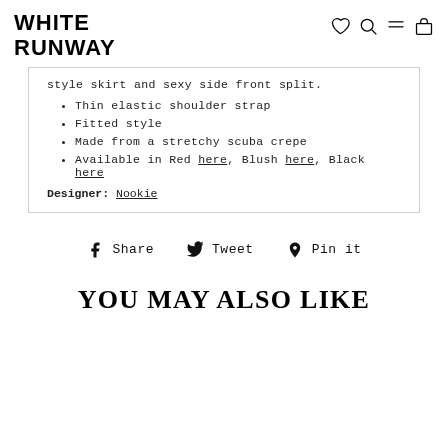WHITE RUNWAY
style skirt and sexy side front split.
Thin elastic shoulder strap
Fitted style
Made from a stretchy scuba crepe
Available in Red here, Blush here, Black here
Designer: Nookie
Share  Tweet  Pin it
YOU MAY ALSO LIKE